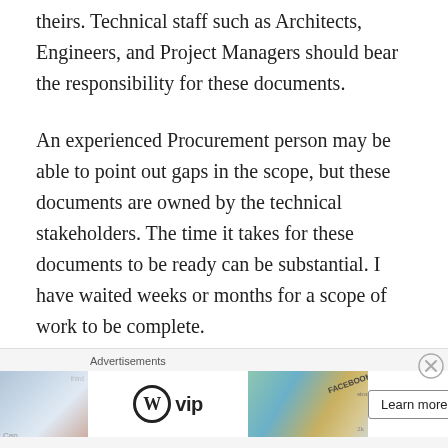theirs.  Technical staff such as Architects, Engineers, and Project Managers should bear the responsibility for these documents.
An experienced Procurement person may be able to point out gaps in the scope, but these documents are owned by the technical stakeholders.  The time it takes for these documents to be ready can be substantial.  I have waited weeks or months for  a scope of work to be complete.
Legal documents are entirely the responsibility of
[Figure (other): Advertisement banner at bottom of page featuring WordPress VIP logo, stock/social media imagery, and a 'Learn more' button]